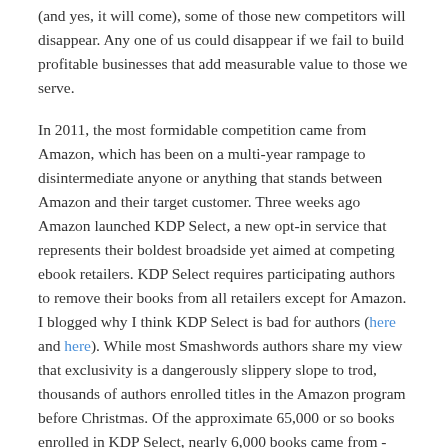(and yes, it will come), some of those new competitors will disappear. Any one of us could disappear if we fail to build profitable businesses that add measurable value to those we serve.
In 2011, the most formidable competition came from Amazon, which has been on a multi-year rampage to disintermediate anyone or anything that stands between Amazon and their target customer. Three weeks ago Amazon launched KDP Select, a new opt-in service that represents their boldest broadside yet aimed at competing ebook retailers. KDP Select requires participating authors to remove their books from all retailers except for Amazon. I blogged why I think KDP Select is bad for authors (here and here). While most Smashwords authors share my view that exclusivity is a dangerously slippery slope to trod, thousands of authors enrolled titles in the Amazon program before Christmas. Of the approximate 65,000 or so books enrolled in KDP Select, nearly 6,000 books came from - and disappeared from - Smashwords as a result.